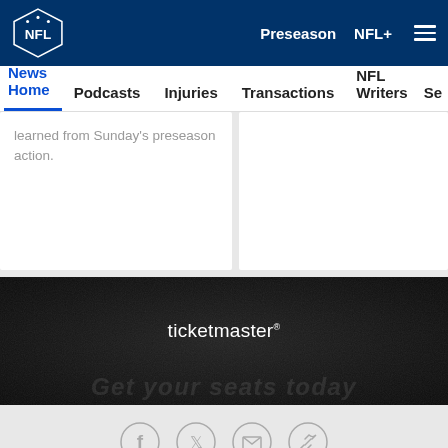[Figure (logo): NFL shield logo in white on navy background top navigation bar with Preseason and NFL+ links and hamburger menu]
News Home | Podcasts | Injuries | Transactions | NFL Writers | Se
learned from Sunday's preseason action.
[Figure (photo): Ticketmaster advertisement banner on dark textured background with ticketmaster logo]
[Figure (infographic): Social sharing icons: Facebook, Twitter, Email, Link]